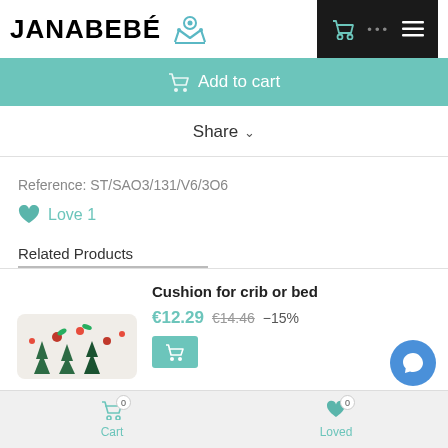JANABEBÉ
Add to cart
Share
Reference: ST/SAO3/131/V6/3O6
Love 1
Related Products
Cushion for crib or bed
€12.29  €14.46  −15%
Cart  0    Loved  0